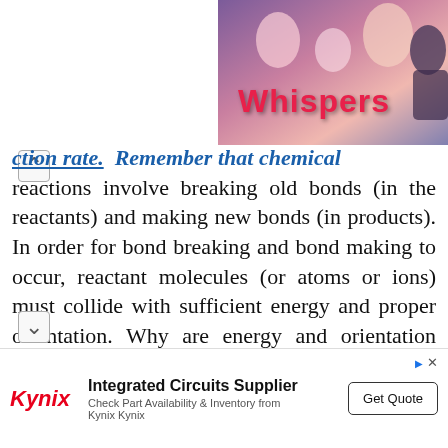[Figure (illustration): Whispers interactive story app advertisement banner showing romantic illustrated characters with the word 'Whispers' in pink/red cursive text]
ction rate. Remember that chemical reactions involve breaking old bonds (in the reactants) and making new bonds (in products). In order for bond breaking and bond making to occur, reactant molecules (or atoms or ions) must collide with sufficient energy and proper orientation. Why are energy and orientation important? Well, the reactant molecules need to collide with enough kinetic energy to ...their bonds and they need to collide
Integrated Circuits Supplier
Check Part Availability & Inventory from Kynix Kynix
Get Quote